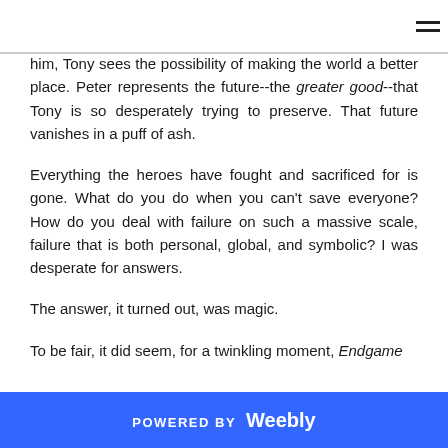≡
him, Tony sees the possibility of making the world a better place. Peter represents the future--the greater good--that Tony is so desperately trying to preserve. That future vanishes in a puff of ash.
Everything the heroes have fought and sacrificed for is gone. What do you do when you can't save everyone? How do you deal with failure on such a massive scale, failure that is both personal, global, and symbolic? I was desperate for answers.
The answer, it turned out, was magic.
To be fair, it did seem, for a twinkling moment, Endgame
POWERED BY Weebly